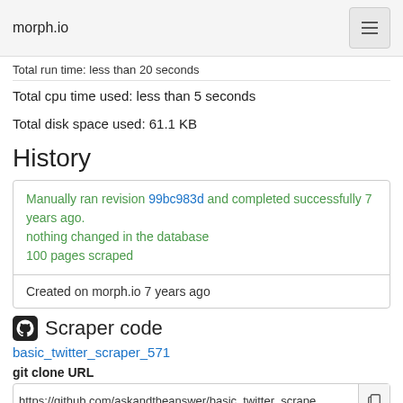morph.io
Total run time: less than 20 seconds
Total cpu time used: less than 5 seconds
Total disk space used: 61.1 KB
History
Manually ran revision 99bc983d and completed successfully 7 years ago.
nothing changed in the database
100 pages scraped
Created on morph.io 7 years ago
Scraper code
basic_twitter_scraper_571
git clone URL
https://github.com/askandtheanswer/basic_twitter_scrape